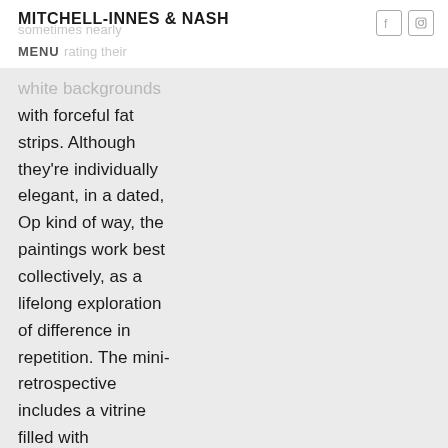MITCHELL-INNES & NASH
sometimes nearly penetrating their white backgrounds with forceful fat strips. Although they're individually elegant, in a dated, Op kind of way, the paintings work best collectively, as a lifelong exploration of difference in repetition. The mini-retrospective includes a vitrine filled with